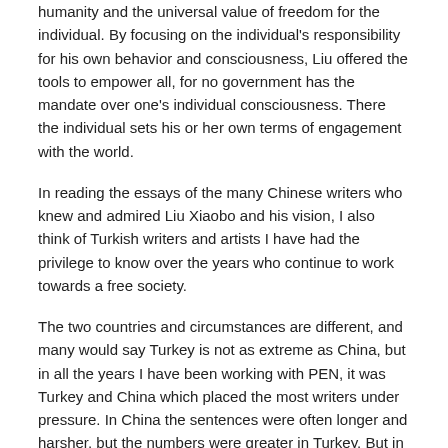humanity and the universal value of freedom for the individual. By focusing on the individual's responsibility for his own behavior and consciousness, Liu offered the tools to empower all, for no government has the mandate over one's individual consciousness. There the individual sets his or her own terms of engagement with the world.
In reading the essays of the many Chinese writers who knew and admired Liu Xiaobo and his vision, I also think of Turkish writers and artists I have had the privilege to know over the years who continue to work towards a free society.
The two countries and circumstances are different, and many would say Turkey is not as extreme as China, but in all the years I have been working with PEN, it was Turkey and China which placed the most writers under pressure. In China the sentences were often longer and harsher, but the numbers were greater in Turkey. But in both nations the individual voices of writers, publishers and artists continue to inspire.
Posted in Blog and tagged China Democracy Movement, freedom